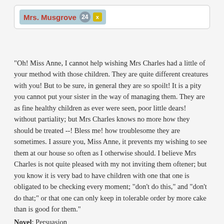Mrs. Musgrove 24 x
"Oh! Miss Anne, I cannot help wishing Mrs Charles had a little of your method with those children. They are quite different creatures with you! But to be sure, in general they are so spoilt! It is a pity you cannot put your sister in the way of managing them. They are as fine healthy children as ever were seen, poor little dears! without partiality; but Mrs Charles knows no more how they should be treated --! Bless me! how troublesome they are sometimes. I assure you, Miss Anne, it prevents my wishing to see them at our house so often as I otherwise should. I believe Mrs Charles is not quite pleased with my not inviting them oftener; but you know it is very bad to have children with one that one is obligated to be checking every moment; "don't do this," and "don't do that;" or that one can only keep in tolerable order by more cake than is good for them."
Novel: Persuasion